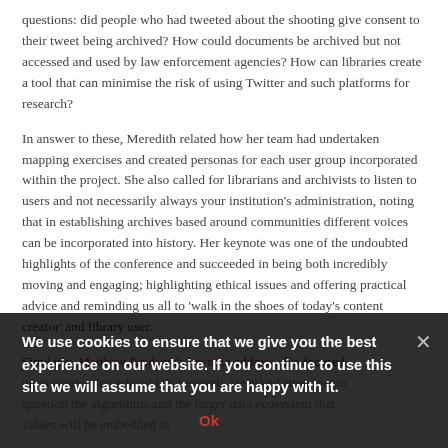questions: did people who had tweeted about the shooting give consent to their tweet being archived? How could documents be archived but not accessed and used by law enforcement agencies? How can libraries create a tool that can minimise the risk of using Twitter and such platforms for research?
In answer to these, Meredith related how her team had undertaken mapping exercises and created personas for each user group incorporated within the project. She also called for librarians and archivists to listen to users and not necessarily always your institution's administration, noting that in establishing archives based around communities different voices can be incorporated into history. Her keynote was one of the undoubted highlights of the conference and succeeded in being both incredibly moving and engaging; highlighting ethical issues and offering practical advice and reminding us all to 'walk in the shoes of today's content creator' and library user.
Similarly, Matthew Reidsma's keynote address also focused upon conducting ethical UX research. He asked attendees to question the algorithms and the larger data ecosystem that values will be embedded in, and your library whether intentionally or not. One of the most striking points that Matthew reinforced was that analytics make us think that people are predictable and cause us to lose sight of the individual.
We use cookies to ensure that we give you the best experience on our website. If you continue to use this site we will assume that you are happy with it.